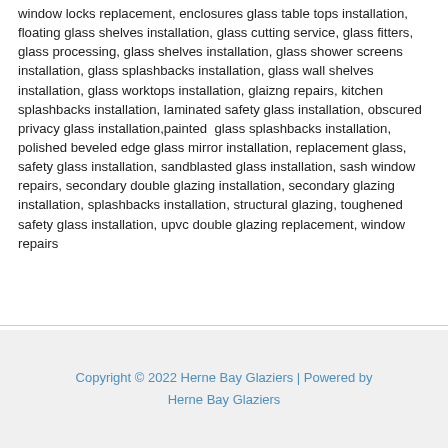window locks replacement, enclosures glass table tops installation, floating glass shelves installation, glass cutting service, glass fitters, glass processing, glass shelves installation, glass shower screens installation, glass splashbacks installation, glass wall shelves installation, glass worktops installation, glaizng repairs, kitchen splashbacks installation, laminated safety glass installation, obscured privacy glass installation,painted glass splashbacks installation, polished beveled edge glass mirror installation, replacement glass, safety glass installation, sandblasted glass installation, sash window repairs, secondary double glazing installation, secondary glazing installation, splashbacks installation, structural glazing, toughened safety glass installation, upvc double glazing replacement, window repairs
Copyright © 2022 Herne Bay Glaziers | Powered by Herne Bay Glaziers